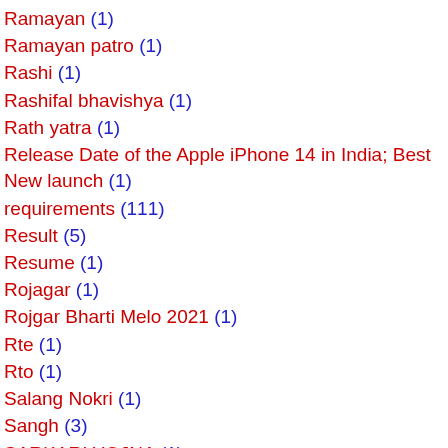Ramayan (1)
Ramayan patro (1)
Rashi (1)
Rashifal bhavishya (1)
Rath yatra (1)
Release Date of the Apple iPhone 14 in India; Best New launch (1)
requirements (111)
Result (5)
Resume (1)
Rojagar (1)
Rojgar Bharti Melo 2021 (1)
Rte (1)
Rto (1)
Salang Nokri (1)
Sangh (3)
SARKARI YOJNA (1)
Sbi (2)
School File (1)
Sel (1)